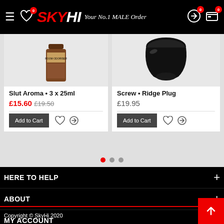SKYHI Your No.1 MALE Order
[Figure (photo): Product image of Slut Aroma room odoriser bottle]
Slut Aroma • 3 x 25ml
£15.60 £19.50
Add to Cart
[Figure (photo): Product image of Screw Ridge Plug black silicone toy]
Screw • Ridge Plug
£19.95
Add to Cart
HERE TO HELP
ABOUT
MY ACCOUNT
CONNECT
Copyright © SkyHi 2020